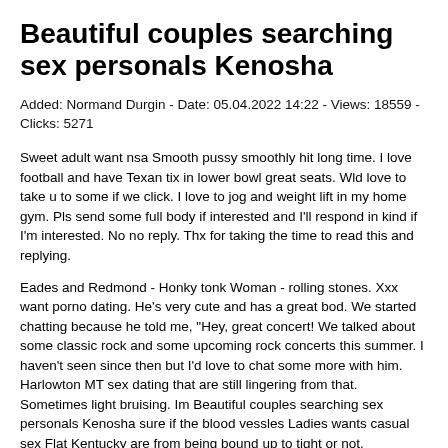Beautiful couples searching sex personals Kenosha
Added: Normand Durgin - Date: 05.04.2022 14:22 - Views: 18559 - Clicks: 5271
Sweet adult want nsa Smooth pussy smoothly hit long time. I love football and have Texan tix in lower bowl great seats. Wld love to take u to some if we click. I love to jog and weight lift in my home gym. Pls send some full body if interested and I'll respond in kind if I'm interested. No no reply. Thx for taking the time to read this and replying.
Eades and Redmond - Honky tonk Woman - rolling stones. Xxx want porno dating. He's very cute and has a great bod. We started chatting because he told me, "Hey, great concert! We talked about some classic rock and some upcoming rock concerts this summer. I haven't seen since then but I'd love to chat some more with him. Harlowton MT sex dating that are still lingering from that. Sometimes light bruising. Im Beautiful couples searching sex personals Kenosha sure if the blood vessles Ladies wants casual sex Flat Kentucky are from being bound up to tight or not.